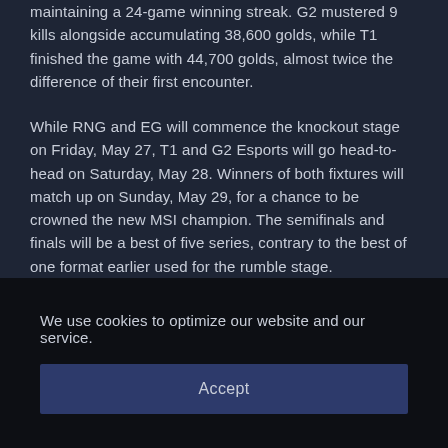maintaining a 24-game winning streak. G2 mustered 9 kills alongside accumulating 38,600 golds, while T1 finished the game with 44,700 golds, almost twice the difference of their first encounter.
While RNG and EG will commence the knockout stage on Friday, May 27, T1 and G2 Esports will go head-to-head on Saturday, May 28. Winners of both fixtures will match up on Sunday, May 29, for a chance to be crowned the new MSI champion. The semifinals and finals will be a best of five series, contrary to the best of one format earlier used for the rumble stage.
We use cookies to optimize our website and our service.
Accept